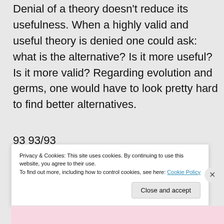Denial of a theory doesn't reduce its usefulness. When a highly valid and useful theory is denied one could ask: what is the alternative? Is it more useful? Is it more valid? Regarding evolution and germs, one would have to look pretty hard to find better alternatives.
93 93/93
★ Like
Privacy & Cookies: This site uses cookies. By continuing to use this website, you agree to their use. To find out more, including how to control cookies, see here: Cookie Policy
Close and accept